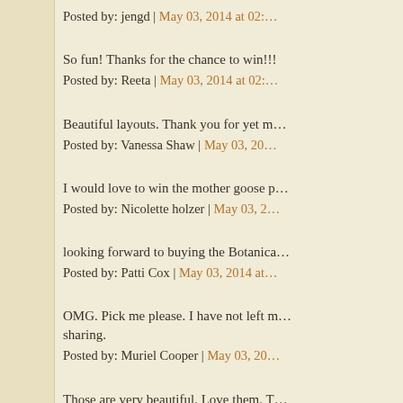Posted by: jengd | May 03, 2014 at 02:…
So fun! Thanks for the chance to win!!!
Posted by: Reeta | May 03, 2014 at 02:…
Beautiful layouts. Thank you for yet m…
Posted by: Vanessa Shaw | May 03, 20…
I would love to win the mother goose p…
Posted by: Nicolette holzer | May 03, 2…
looking forward to buying the Botanica…
Posted by: Patti Cox | May 03, 2014 at…
OMG. Pick me please. I have not left m… sharing.
Posted by: Muriel Cooper | May 03, 20…
Those are very beautiful. Love them. T…